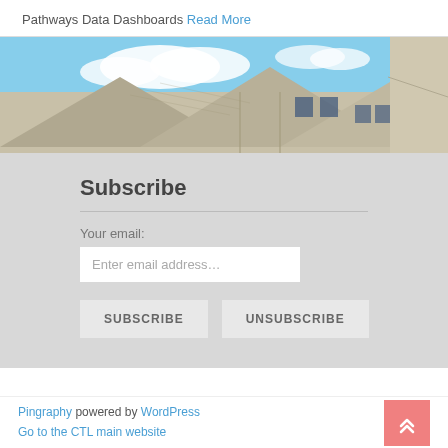Pathways Data Dashboards Read More
[Figure (photo): Exterior of a modern building with angular roof panels against a partly cloudy blue sky]
Subscribe
Your email:
Enter email address…
SUBSCRIBE   UNSUBSCRIBE
Pingraphy powered by WordPress  Go to the CTL main website